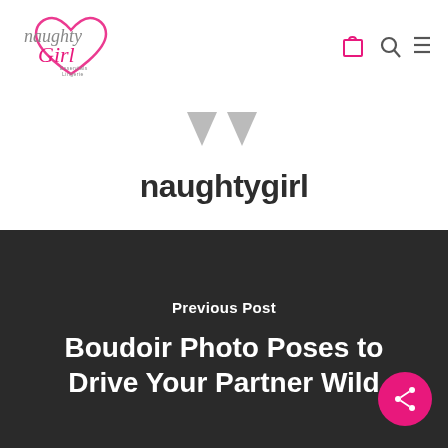[Figure (logo): Naughty Girl Essentials Lingerie logo with cursive text and heart graphic in grey and pink]
[Figure (other): Navigation icons: shopping bag, search/magnifying glass, and hamburger menu in pink/dark colors]
[Figure (other): Two grey downward-pointing triangle/arrow shapes resembling quotation marks]
naughtygirl
Previous Post
Boudoir Photo Poses to Drive Your Partner Wild